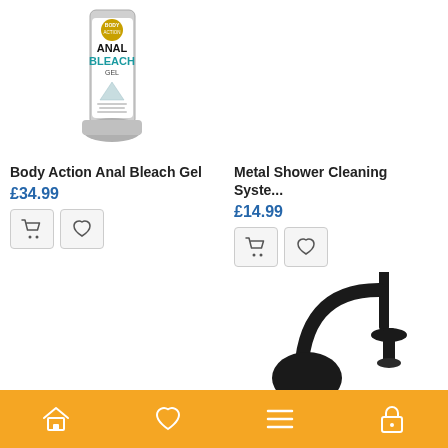[Figure (photo): Product image of Body Action Anal Bleach Gel tube on white background]
Body Action Anal Bleach Gel
£34.99
[Figure (photo): Metal Shower Cleaning System product - black rubber bulb with tube and nozzle attachment]
Metal Shower Cleaning Syste...
£14.99
Home | Wishlist | Menu | Account